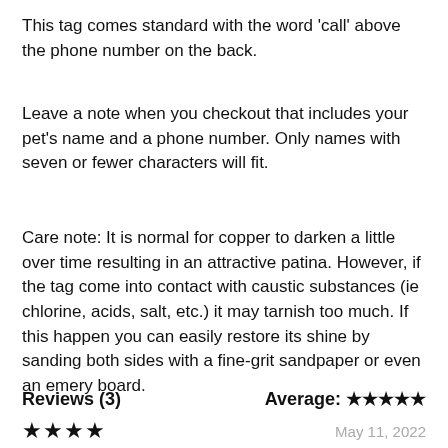This tag comes standard with the word 'call' above the phone number on the back.
Leave a note when you checkout that includes your pet's name and a phone number. Only names with seven or fewer characters will fit.
Care note: It is normal for copper to darken a little over time resulting in an attractive patina. However, if the tag come into contact with caustic substances (ie chlorine, acids, salt, etc.) it may tarnish too much. If this happen you can easily restore its shine by sanding both sides with a fine-grit sandpaper or even an emery board.
Reviews (3)    Average: ★★★★★
★★★★   May 11, 2022